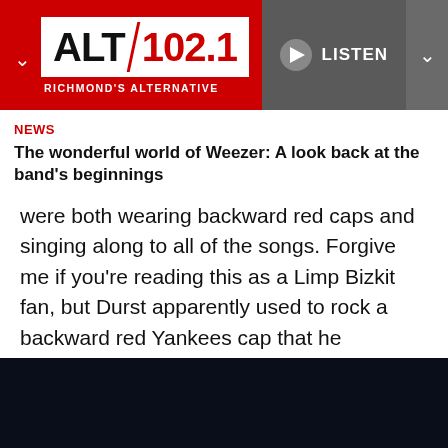ALT 102.1 RICHMOND'S ALTERNATIVE — LISTEN
NEWS
The wonderful world of Weezer: A look back at the band's beginnings
were both wearing backward red caps and singing along to all of the songs. Forgive me if you're reading this as a Limp Bizkit fan, but Durst apparently used to rock a backward red Yankees cap that he reportedly still has to this day (he has also confirmed it smells pretty bad now.)